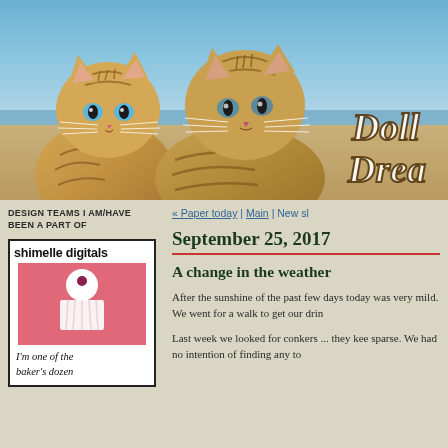[Figure (photo): Blog header banner showing two tabby kittens on a beach with the blog title 'Dolly Dreams' in cursive text on the right side against a blue sky/beach background]
DESIGN TEAMS I AM/HAVE BEEN A PART OF
[Figure (logo): Shimelle Digitals logo - white background with pink cupcake graphic, text 'shimelle digitals' at top and 'I'm one of the baker's dozen' at bottom in cursive]
« Paper today | Main | New sh
September 25, 2017
A change in the weather
After the sunshine of the past few days today was very mild. We went for a walk to get our drin
Last week we looked for conkers ... they kee sparse. We had no intention of finding any to